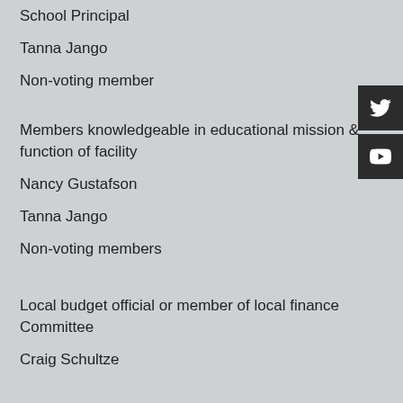School Principal
Tanna Jango
Non-voting member
Members knowledgeable in educational mission & function of facility
Nancy Gustafson
Tanna Jango
Non-voting members
Local budget official or member of local finance Committee
Craig Schultze